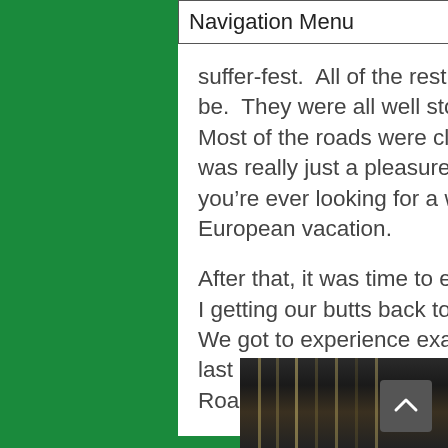Navigation Menu
suffer-fest.  All of the rest stops were where they were supposed to be.  They were all well stocked.  The course was obviously marked.  Most of the roads were closed.  Even the swag was pretty sweet.  It was really just a pleasure to take part in, and I’d recommend it if you’re ever looking for a way to punish yourself and utterly ruin a European vacation.
After that, it was time to eat anything I saw, and then just Steve and I getting our butts back to Paris.  They call Paris the “City of Light”.  We got to experience exactly what that meant as our room on our last night in the Paris Hilton was spent in the “Kenny Rogers Roasters Suite”.
[Figure (photo): Two side-by-side photos showing curtains/drapes in a dark hotel room, with gold/beige striped curtains partially visible against a dark background.]